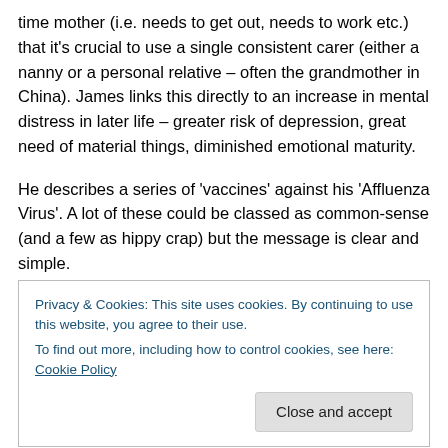time mother (i.e. needs to get out, needs to work etc.) that it's crucial to use a single consistent carer (either a nanny or a personal relative – often the grandmother in China). James links this directly to an increase in mental distress in later life – greater risk of depression, great need of material things, diminished emotional maturity.
He describes a series of 'vaccines' against his 'Affluenza Virus'. A lot of these could be classed as common-sense (and a few as hippy crap) but the message is clear and simple.
Privacy & Cookies: This site uses cookies. By continuing to use this website, you agree to their use.
To find out more, including how to control cookies, see here: Cookie Policy
than a Nanny or relative should be preferable before